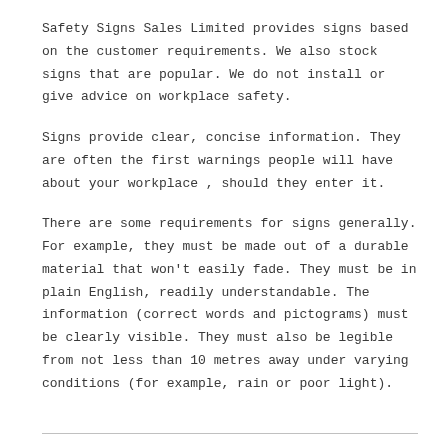Safety Signs Sales Limited provides signs based on the customer requirements. We also stock signs that are popular. We do not install or give advice on workplace safety.
Signs provide clear, concise information. They are often the first warnings people will have about your workplace , should they enter it.
There are some requirements for signs generally. For example, they must be made out of a durable material that won't easily fade. They must be in plain English, readily understandable. The information (correct words and pictograms) must be clearly visible. They must also be legible from not less than 10 metres away under varying conditions (for example, rain or poor light).